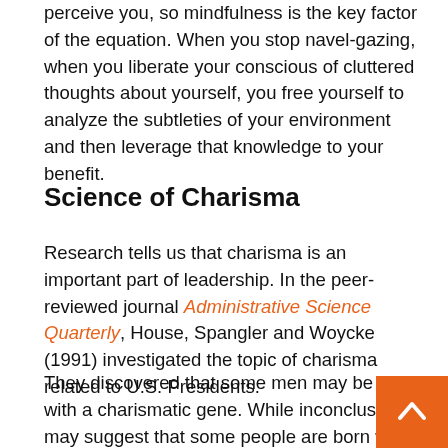perceive you, so mindfulness is the key factor of the equation. When you stop navel-gazing, when you liberate your conscious of cluttered thoughts about yourself, you free yourself to analyze the subtleties of your environment and then leverage that knowledge to your benefit.
Science of Charisma
Research tells us that charisma is an important part of leadership. In the peer-reviewed journal Administrative Science Quarterly, House, Spangler and Woycke (1991) investigated the topic of charisma related to U.S. Presidents.
They discovered that some men may be born with a charismatic gene. While inconclusive, it may suggest that some people are born with the ability to draw